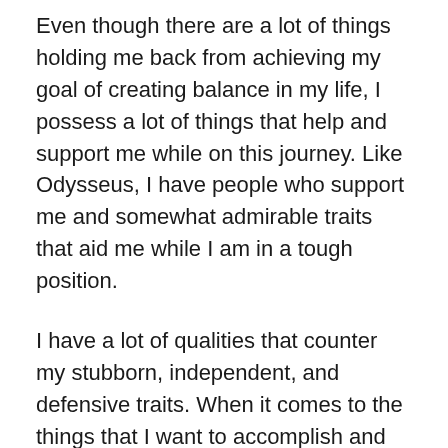Even though there are a lot of things holding me back from achieving my goal of creating balance in my life, I possess a lot of things that help and support me while on this journey. Like Odysseus, I have people who support me and somewhat admirable traits that aid me while I am in a tough position.
I have a lot of qualities that counter my stubborn, independent, and defensive traits. When it comes to the things that I want to accomplish and the goals I have, I am very determined to get them done. Much like how Odysseus always put everything he had into his goals and was determined to get home, I work very hard whenever I really want something. I also have a lot of integrity when it comes to how I am. I am very honest with myself and with the people around me, so usually I am able to recognize when something is wrong with me, the reason for why I